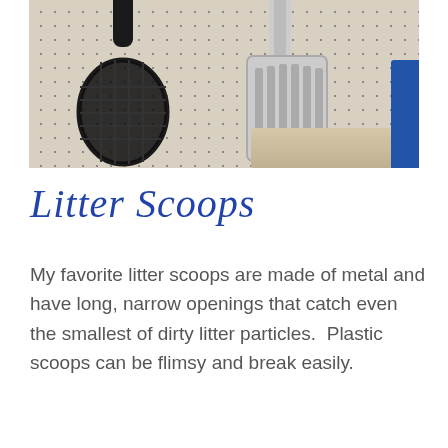[Figure (photo): Photo of two litter scoops hanging on a pegboard display. A black plastic basket-style scoop is on the left, and a white/gray slotted scoop is in the center-right. A blue item is partially visible on the far right edge.]
Litter Scoops
My favorite litter scoops are made of metal and have long, narrow openings that catch even the smallest of dirty litter particles.  Plastic scoops can be flimsy and break easily.